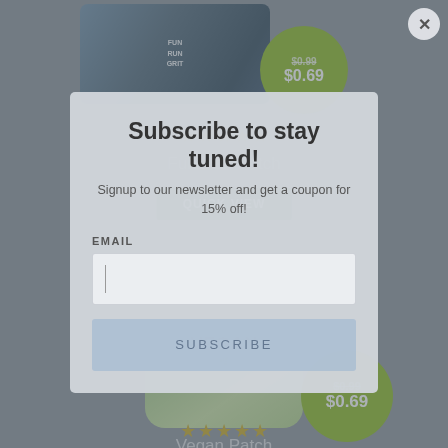[Figure (screenshot): E-commerce product listing page showing patch products with prices and star ratings, overlaid by a newsletter subscription modal popup. Background shows Fun Run Patch and Vegan Patch products at $0.99 sale price $0.69, each with 5-star ratings and Quick View buttons. Modal overlay prompts user to subscribe to newsletter for 15% off coupon.]
Subscribe to stay tuned!
Signup to our newsletter and get a coupon for 15% off!
EMAIL
SUBSCRIBE